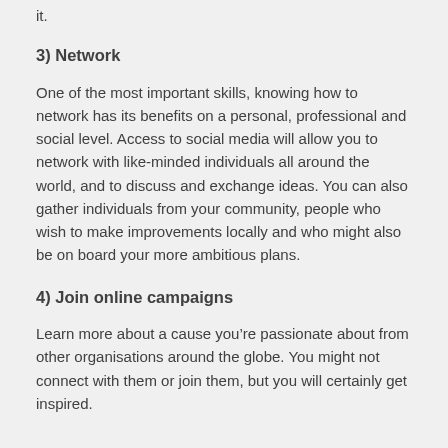it.
3) Network
One of the most important skills, knowing how to network has its benefits on a personal, professional and social level. Access to social media will allow you to network with like-minded individuals all around the world, and to discuss and exchange ideas. You can also gather individuals from your community, people who wish to make improvements locally and who might also be on board your more ambitious plans.
4) Join online campaigns
Learn more about a cause you’re passionate about from other organisations around the globe. You might not connect with them or join them, but you will certainly get inspired.